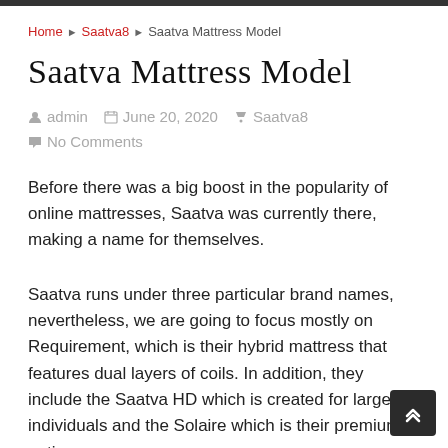Home ▶ Saatva8 ▶ Saatva Mattress Model
Saatva Mattress Model
admin   June 20, 2020   Saatva8   No Comments
Before there was a big boost in the popularity of online mattresses, Saatva was currently there, making a name for themselves.
Saatva runs under three particular brand names, nevertheless, we are going to focus mostly on Requirement, which is their hybrid mattress that features dual layers of coils. In addition, they include the Saatva HD which is created for larger individuals and the Solaire which is their premium option.